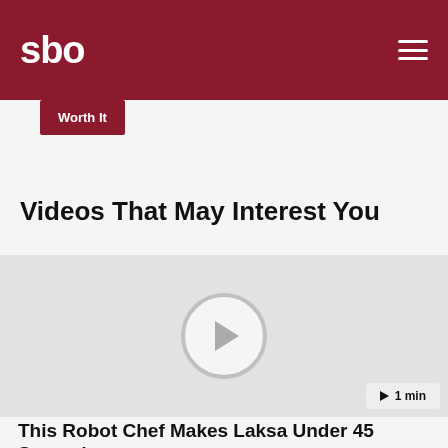sbo
Worth It
Videos That May Interest You
[Figure (screenshot): Video thumbnail placeholder with play button circle in the center and a duration badge showing '1 min' in the bottom right corner]
This Robot Chef Makes Laksa Under 45 Seconds